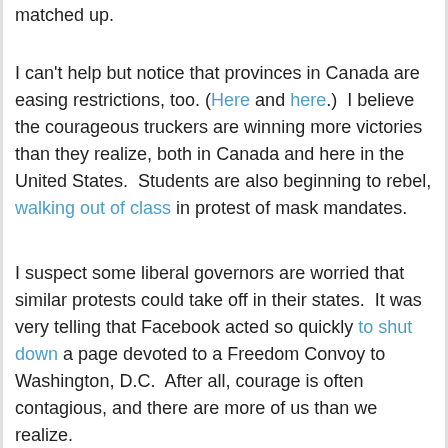matched up.
I can't help but notice that provinces in Canada are easing restrictions, too. (Here and here.)  I believe the courageous truckers are winning more victories than they realize, both in Canada and here in the United States.  Students are also beginning to rebel, walking out of class in protest of mask mandates.
I suspect some liberal governors are worried that similar protests could take off in their states.  It was very telling that Facebook acted so quickly to shut down a page devoted to a Freedom Convoy to Washington, D.C.  After all, courage is often contagious, and there are more of us than we realize.
But our freedoms are like our physical health.  Muscles atrophy if you don't use them, and the same goes with liberty.  Use it or lose it.